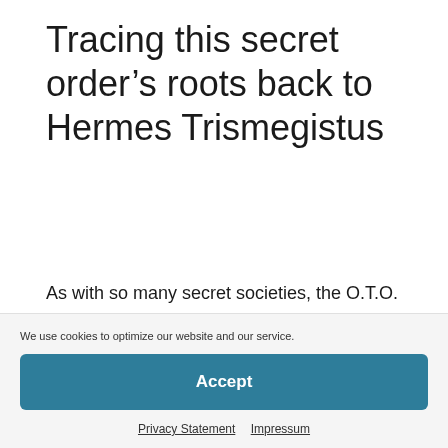Tracing this secret order’s roots back to Hermes Trismegistus
As with so many secret societies, the O.T.O. has its roots in an initiatory tradition that goes back thousands of years. The O.T.O. does not claim to represent or
We use cookies to optimize our website and our service.
Accept
Privacy Statement   Impressum